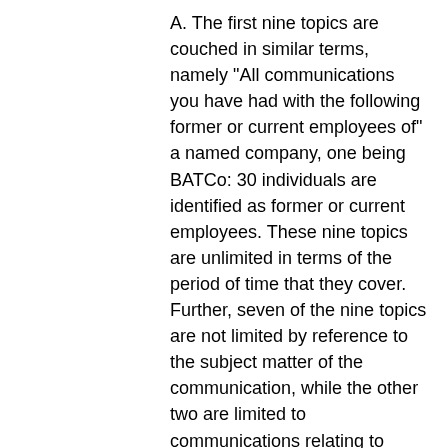A. The first nine topics are couched in similar terms, namely "All communications you have had with the following former or current employees of" a named company, one being BATCo: 30 individuals are identified as former or current employees. These nine topics are unlimited in terms of the period of time that they cover. Further, seven of the nine topics are not limited by reference to the subject matter of the communication, while the other two are limited to communications relating to "cigarette pricing"....
...
[12] Secondly, neither the letter...